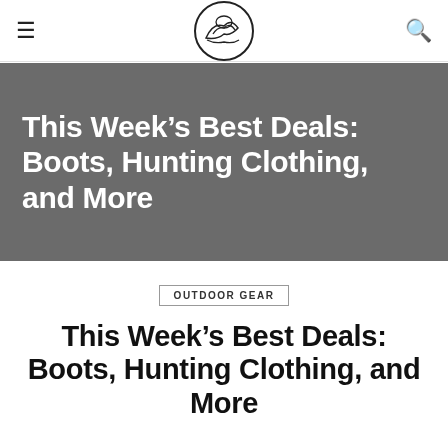☰  [logo]  🔍
This Week's Best Deals: Boots, Hunting Clothing, and More
OUTDOOR GEAR
This Week's Best Deals: Boots, Hunting Clothing, and More